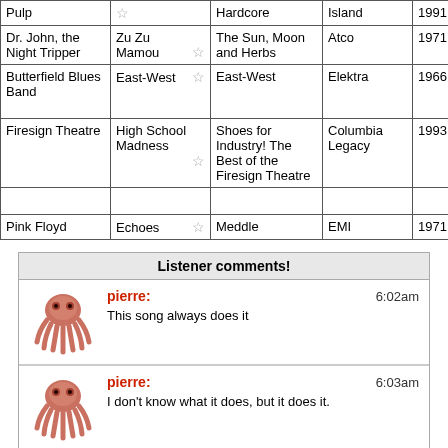| Artist | Song | Album | Label | Year | Notes |
| --- | --- | --- | --- | --- | --- |
| Pulp |  | Hardcore | Island | 1991 | 7/28/65 |
| Dr. John, the Night Tripper | Zu Zu Mamou | The Sun, Moon and Herbs | Atco | 1971 |  |
| Butterfield Blues Band | East-West | East-West | Elektra | 1966 | Mike Bloomf... born 7/... |
| Firesign Theatre | High School Madness | Shoes for Industry! The Best of the Firesign Theatre | Columbia Legacy | 1993 | R.I.P. P... Austin d... 6/19/15... |
|  |  |  |  |  |  |
| Pink Floyd | Echoes | Meddle | EMI | 1971 |  |
Listener comments!
pierre: 6:02am
This song always does it
pierre: 6:03am
I don't know what it does, but it does it.